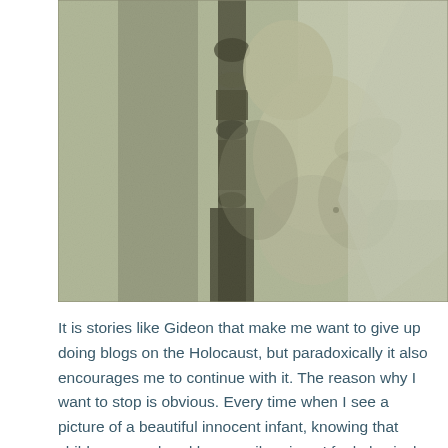[Figure (photo): A vintage sepia/green-toned photograph of a young infant or toddler, apparently naked, sitting or positioned near a dark wooden furniture piece (appears to be a chair or table leg). The image is grainy and old, suggesting it is a historical photograph.]
It is stories like Gideon that make me want to give up doing blogs on the Holocaust, but paradoxically it also encourages me to continue with it. The reason why I want to stop is obvious. Every time when I see a picture of a beautiful innocent infant, knowing that child was murdered by an evil regime, I feel physical and mental pain. However, that is also the reason why I have to